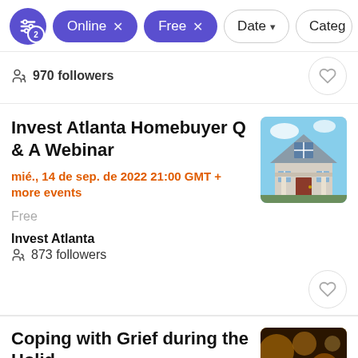Filter bar: Online x, Free x, Date, Category
970 followers
Invest Atlanta Homebuyer Q & A Webinar
mié., 14 de sep. de 2022 21:00 GMT + more events
Free
Invest Atlanta
873 followers
Coping with Grief during the Holid…